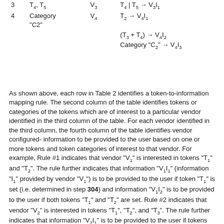| # | Token / Category | Vendor | Rule |
| --- | --- | --- | --- |
| 3 | T₄, T₅ | V₃ | T₄ | T₅ → V₃I₁ |
| 4 | Category "C2" | V₄ | T₂ → V₄I₁
(T₃ + T₄) → V₄I₂
Category "C₂" → V₄I₃ |
As shown above, each row in Table 2 identifies a token-to-information mapping rule. The second column of the table identifies tokens or categories of the tokens which are of interest to a particular vendor identified in the third column of the table. For each vendor identified in the third column, the fourth column of the table identifies vendor configured-information to be provided to the user based on one or more tokens and token categories of interest to that vendor. For example, Rule #1 indicates that vendor “V₁” is interested in tokens “T₁” and “T₂”. The rule further indicates that information “V₁I₁” (information “I₁” provided by vendor “V₁”) is to be provided to the user if token “T₁” is set (i.e. determined in step 304) and information “V₁I₂” is to be provided to the user if both tokens “T₁” and “T₂” are set. Rule #2 indicates that vendor “V₂” is interested in tokens “T₁”, “T₂”, and “T₃”. The rule further indicates that information “V₂I₁” is to be provided to the user if tokens (“T₁” and “T₂”) or tokens (“T₁” and “T₃”) are set. Rule #3 indicates that vendor “V₃” is interested in tokens “T₄” and “T₅”. The rule further indicates that information “V₃I₁” is to be provided to the user if either of the tokens “T₄” or “T5” are set. Rule #4 indicates that vendor “V₄”